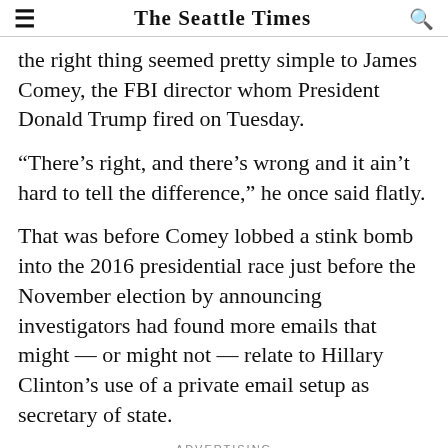The Seattle Times
the right thing seemed pretty simple to James Comey, the FBI director whom President Donald Trump fired on Tuesday.
“There’s right, and there’s wrong and it ain’t hard to tell the difference,” he once said flatly.
That was before Comey lobbed a stink bomb into the 2016 presidential race just before the November election by announcing investigators had found more emails that might — or might not — relate to Hillary Clinton’s use of a private email setup as secretary of state.
ADVERTISING
And it was before Comey publicly confirmed in March that the FBI since last summer had been